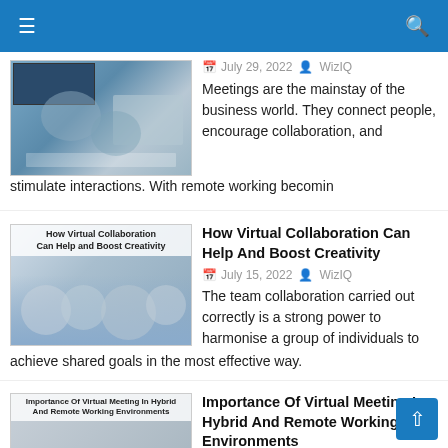[Figure (photo): Office meeting room with people around a table, video conferencing screens in background]
July 29, 2022  WizIQ
Meetings are the mainstay of the business world. They connect people, encourage collaboration, and stimulate interactions. With remote working becomin
How Virtual Collaboration Can Help And Boost Creativity
[Figure (photo): People collaborating around a table with laptops, thumbnail with title overlay: How Virtual Collaboration Can Help and Boost Creativity]
July 15, 2022  WizIQ
The team collaboration carried out correctly is a strong power to harmonise a group of individuals to achieve shared goals in the most effective way.
Importance Of Virtual Meeting In Hybrid And Remote Working Environments
[Figure (photo): Thumbnail with title overlay: Importance Of Virtual Meeting In Hybrid And Remote Working Environments]